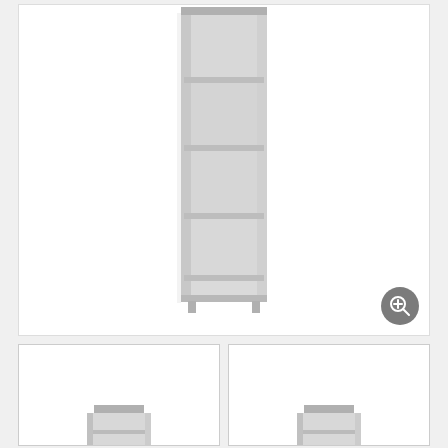[Figure (photo): Main product image showing a tall narrow white bookcase/bookshelf with 4 open shelves, photographed from the front on a white background]
[Figure (photo): Thumbnail image (left) showing an alternate view of the white bookcase product, partially visible at bottom]
[Figure (photo): Thumbnail image (right) showing another alternate view of the white bookcase product, partially visible at bottom]